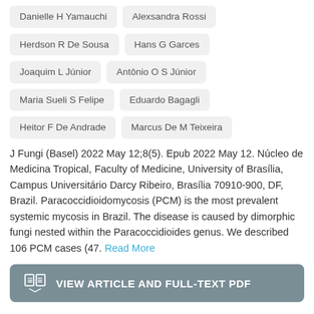Danielle H Yamauchi
Alexsandra Rossi
Herdson R De Sousa
Hans G Garces
Joaquim L Júnior
Antônio O S Júnior
Maria Sueli S Felipe
Eduardo Bagagli
Heitor F De Andrade
Marcus De M Teixeira
J Fungi (Basel) 2022 May 12;8(5). Epub 2022 May 12. Núcleo de Medicina Tropical, Faculty of Medicine, University of Brasília, Campus Universitário Darcy Ribeiro, Brasília 70910-900, DF, Brazil. Paracoccidioidomycosis (PCM) is the most prevalent systemic mycosis in Brazil. The disease is caused by dimorphic fungi nested within the Paracoccidioides genus. We described 106 PCM cases (47. Read More
VIEW ARTICLE AND FULL-TEXT PDF